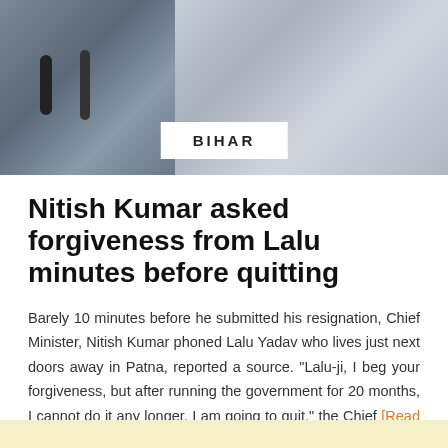[Figure (photo): Photo banner showing two political figures at microphones, with a white 'BIHAR' label overlay in the center]
Nitish Kumar asked forgiveness from Lalu minutes before quitting
Barely 10 minutes before he submitted his resignation, Chief Minister, Nitish Kumar phoned Lalu Yadav who lives just next doors away in Patna, reported a source. “Lalu-ji, I beg your forgiveness, but after running the government for 20 months, I cannot do it any longer. I am going to quit,” the Chief [Read More…]
Saturday 29th July 2017  —  by Newsd